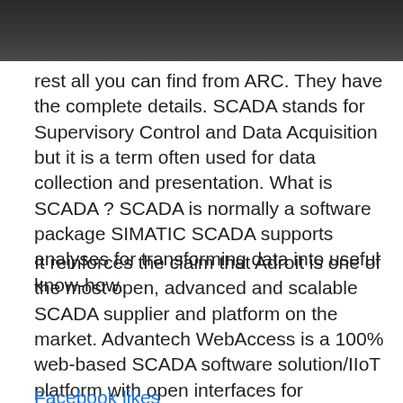[Figure (photo): Dark photograph, partially cropped at the top of the page]
rest all you can find from ARC. They have the complete details. SCADA stands for Supervisory Control and Data Acquisition but it is a term often used for data collection and presentation. What is SCADA ? SCADA is normally a software package SIMATIC SCADA supports analyses for transforming data into useful know-how.
It reinforces the claim that Adroit is one of the most open, advanced and scalable SCADA supplier and platform on the market. Advantech WebAccess is a 100% web-based SCADA software solution/IIoT platform with open interfaces for developing IoT applications.
Facebook likes